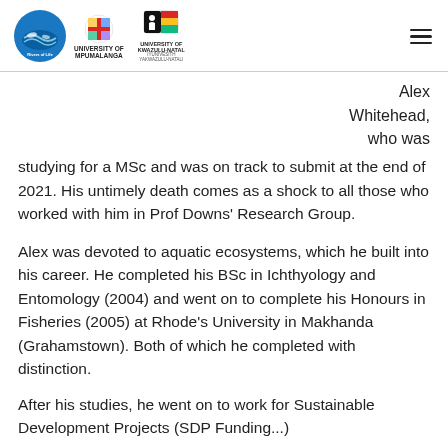University of Mpumalanga | University of KwaZulu-Natal logos and navigation
Alex Whitehead, who was studying for a MSc and was on track to submit at the end of 2021. His untimely death comes as a shock to all those who worked with him in Prof Downs' Research Group.
Alex was devoted to aquatic ecosystems, which he built into his career. He completed his BSc in Ichthyology and Entomology (2004) and went on to complete his Honours in Fisheries (2005) at Rhode's University in Makhanda (Grahamstown). Both of which he completed with distinction.
After his studies, he went on to work for Sustainable Development Projects (SDP Funding...)